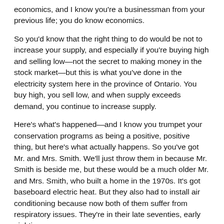economics, and I know you're a businessman from your previous life; you do know economics.
So you'd know that the right thing to do would be not to increase your supply, and especially if you're buying high and selling low—not the secret to making money in the stock market—but this is what you've done in the electricity system here in the province of Ontario. You buy high, you sell low, and when supply exceeds demand, you continue to increase supply.
Here's what's happened—and I know you trumpet your conservation programs as being a positive, positive thing, but here's what actually happens. So you've got Mr. and Mrs. Smith. We'll just throw them in because Mr. Smith is beside me, but these would be a much older Mr. and Mrs. Smith, who built a home in the 1970s. It's got baseboard electric heat. But they also had to install air conditioning because now both of them suffer from respiratory issues. They're in their late seventies, early eighties.